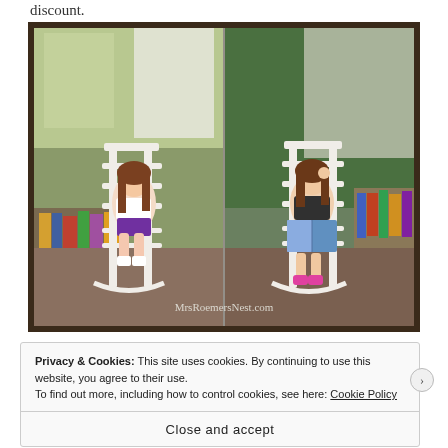discount.
[Figure (photo): Two side-by-side photos of young girls sitting in white rocking chairs reading books in a classroom/library setting. Left photo shows a girl in white top and purple shorts, right photo shows a girl in black shirt reading an open book. Watermark reads MrsRoemersNest.com]
Privacy & Cookies: This site uses cookies. By continuing to use this website, you agree to their use.
To find out more, including how to control cookies, see here: Cookie Policy
Close and accept